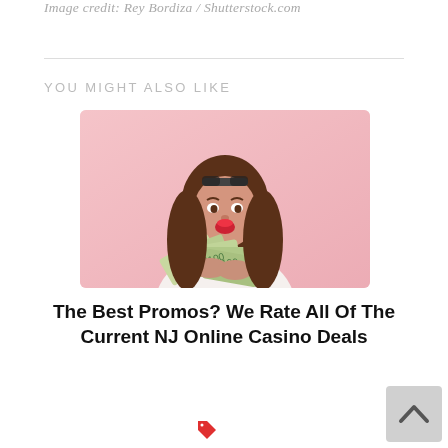Image credit: Rey Bordiza / Shutterstock.com
YOU MIGHT ALSO LIKE
[Figure (photo): Young woman with sunglasses on head, red lips, holding a fan of US dollar bills, posing against a pink background]
The Best Promos? We Rate All Of The Current NJ Online Casino Deals